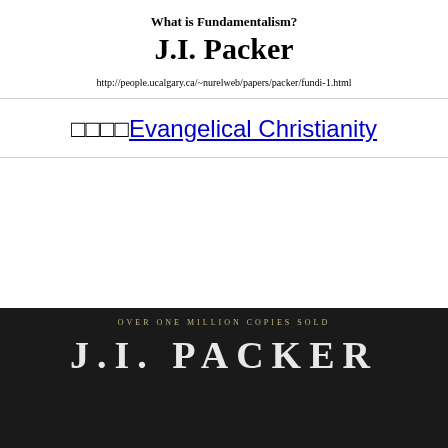What is Fundamentalism?
J.I. Packer
http://people.ucalgary.ca/~nurelweb/papers/packer/fundi-1.html
□□□□Evangelical Christianity
[Figure (photo): Bottom portion of a book cover with dark/black background showing 'OVER ONE MILLION COPIES SOLD' in gold lettering and 'J.I. PACKER' in large silver/white letters]